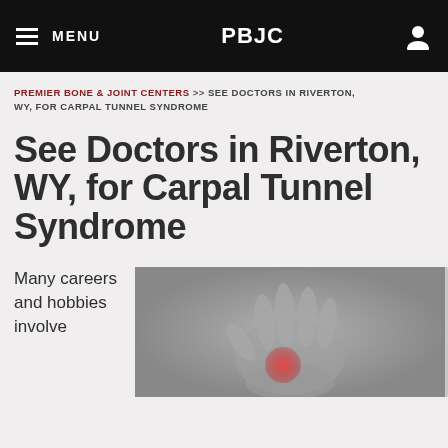MENU | PBJC
PREMIER BONE & JOINT CENTERS >> SEE DOCTORS IN RIVERTON, WY, FOR CARPAL TUNNEL SYNDROME
See Doctors in Riverton, WY, for Carpal Tunnel Syndrome
Many careers and hobbies involve
[Figure (photo): Black and white photo of a hand and wrist with a red highlight indicating carpal tunnel pain area.]